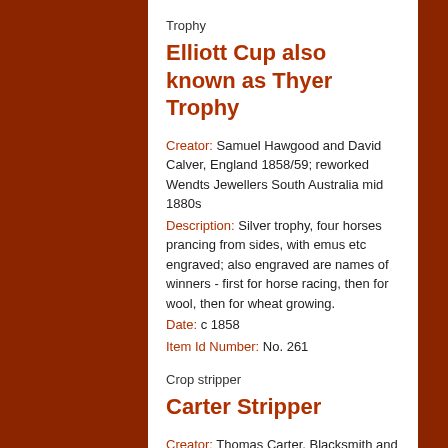Trophy
Elliott Cup also known as Thyer Trophy
Creator: Samuel Hawgood and David Calver, England 1858/59; reworked Wendts Jewellers South Australia mid 1880s
Description: Silver trophy, four horses prancing from sides, with emus etc engraved; also engraved are names of winners - first for horse racing, then for wool, then for wheat growing.
Date: c 1858
Item Id Number: No. 261
Crop stripper
Carter Stripper
Creator: Thomas Carter, Blacksmith and Machine Manufacturer, South Australia